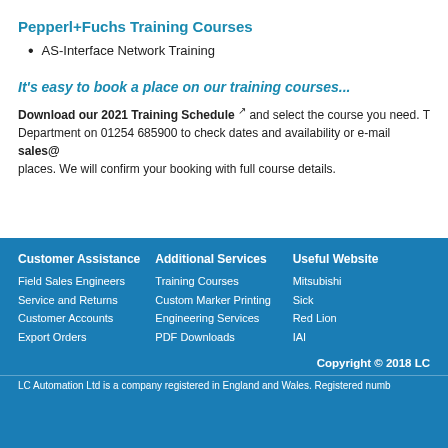Pepperl+Fuchs Training Courses
AS-Interface Network Training
It's easy to book a place on our training courses...
Download our 2021 Training Schedule and select the course you need. Then contact our Sales Department on 01254 685900 to check dates and availability or e-mail sales@ places. We will confirm your booking with full course details.
Customer Assistance
Field Sales Engineers
Service and Returns
Customer Accounts
Export Orders
Additional Services
Training Courses
Custom Marker Printing
Engineering Services
PDF Downloads
Useful Website
Mitsubishi
Sick
Red Lion
IAI
Copyright © 2018 LC
LC Automation Ltd is a company registered in England and Wales. Registered numb